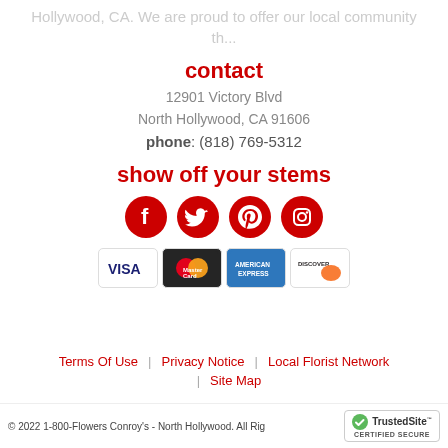Hollywood, CA. We are proud to offer our local community th...
contact
12901 Victory Blvd
North Hollywood, CA 91606
phone: (818) 769-5312
show off your stems
[Figure (infographic): Social media icons: Facebook, Twitter, Pinterest, Instagram — red circles with white logos]
[Figure (infographic): Payment card icons: VISA, MasterCard, American Express, Discover]
Terms Of Use | Privacy Notice | Local Florist Network
Site Map
© 2022 1-800-Flowers Conroy's - North Hollywood. All Rights Reserved.